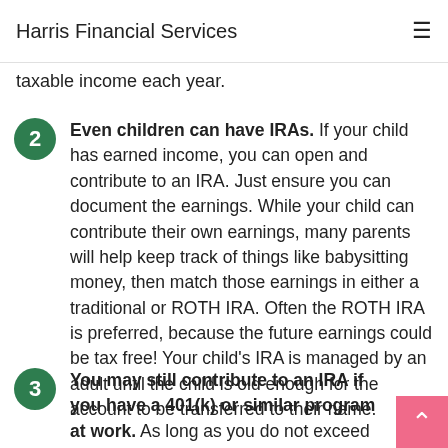Harris Financial Services
assuming that you work and file a joint tax return. This can be a great way to help reduce your taxable income each year.
Even children can have IRAs. If your child has earned income, you can open and contribute to an IRA. Just ensure you can document the earnings. While your child can contribute their own earnings, many parents will help keep track of things like babysitting money, then match those earnings in either a traditional or ROTH IRA. Often the ROTH IRA is preferred, because the future earnings could be tax free! Your child's IRA is managed by an adult until the child is old enough for the account to be transferred to their name.
You may still contribute to an IRA if you have a 401(k) or similar program at work. As long as you do not exceed the income limits, it is ok to